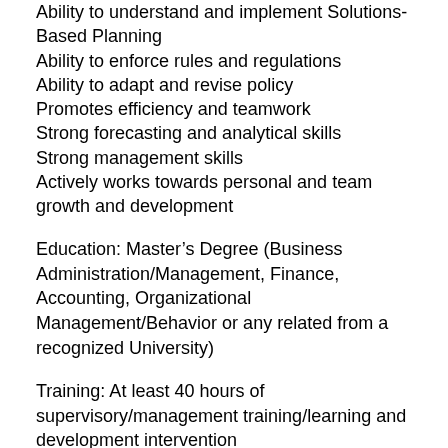Ability to understand and implement Solutions-Based Planning
Ability to enforce rules and regulations
Ability to adapt and revise policy
Promotes efficiency and teamwork
Strong forecasting and analytical skills
Strong management skills
Actively works towards personal and team growth and development
Education: Master’s Degree (Business Administration/Management, Finance, Accounting, Organizational Management/Behavior or any related from a recognized University)
Training: At least 40 hours of supervisory/management training/learning and development intervention
Experience: At least 10 years management experience in